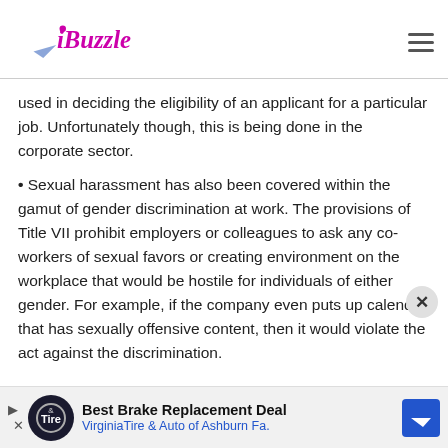iBuzzle
used in deciding the eligibility of an applicant for a particular job. Unfortunately though, this is being done in the corporate sector.
Sexual harassment has also been covered within the gamut of gender discrimination at work. The provisions of Title VII prohibit employers or colleagues to ask any co-workers of sexual favors or creating environment on the workplace that would be hostile for individuals of either gender. For example, if the company even puts up calendar that has sexually offensive content, then it would violate the act against the discrimination.
[Figure (other): Advertisement banner: Best Brake Replacement Deal - VirginiaTire & Auto of Ashburn Fa.]